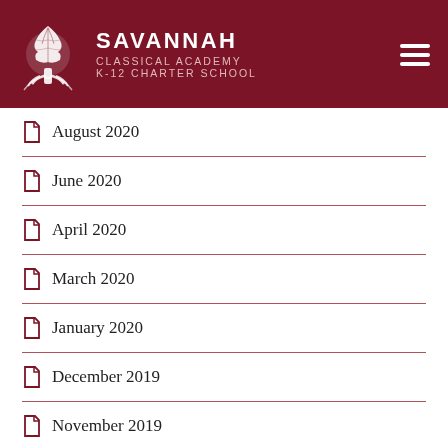SAVANNAH CLASSICAL ACADEMY K-12 CHARTER SCHOOL
August 2020
June 2020
April 2020
March 2020
January 2020
December 2019
November 2019
October 2019